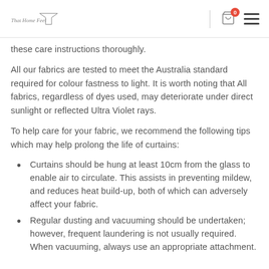That Home Feel — logo with cart icon and menu
these care instructions thoroughly.
All our fabrics are tested to meet the Australia standard required for colour fastness to light. It is worth noting that All fabrics, regardless of dyes used, may deteriorate under direct sunlight or reflected Ultra Violet rays.
To help care for your fabric, we recommend the following tips which may help prolong the life of curtains:
Curtains should be hung at least 10cm from the glass to enable air to circulate. This assists in preventing mildew, and reduces heat build-up, both of which can adversely affect your fabric.
Regular dusting and vacuuming should be undertaken; however, frequent laundering is not usually required. When vacuuming, always use an appropriate attachment.